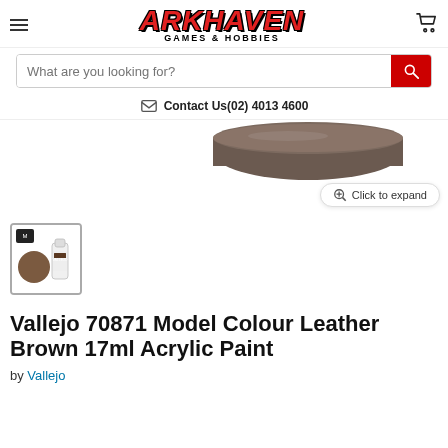[Figure (logo): Arkhaven Games & Hobbies logo with red stylized text and black subtitle]
What are you looking for?
Contact Us(02) 4013 4600
[Figure (photo): Partial view of a dark brown paint cap/lid, partially cut off at top of page]
Click to expand
[Figure (photo): Thumbnail image showing Vallejo 70871 Model Colour Leather Brown paint swatch and bottle]
Vallejo 70871 Model Colour Leather Brown 17ml Acrylic Paint
by Vallejo